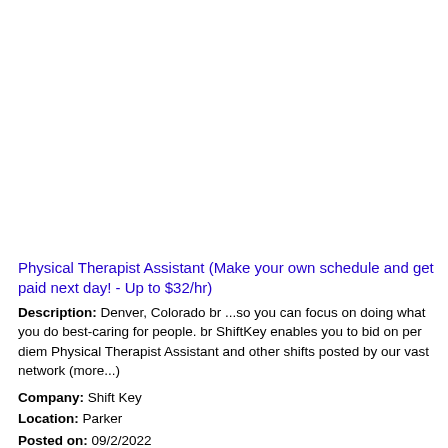Physical Therapist Assistant (Make your own schedule and get paid next day! - Up to $32/hr)
Description: Denver, Colorado br ...so you can focus on doing what you do best-caring for people. br ShiftKey enables you to bid on per diem Physical Therapist Assistant and other shifts posted by our vast network (more...)
Company: Shift Key
Location: Parker
Posted on: 09/2/2022
Charge Nurse LDRP PCU at UCHealth